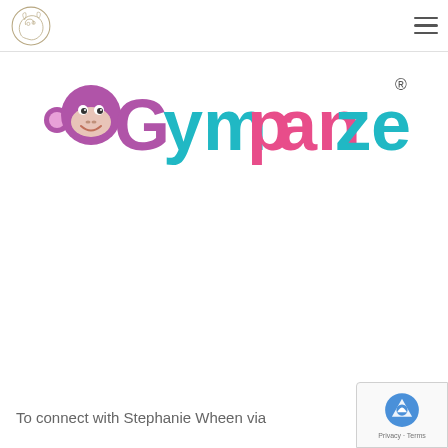Navigation header with small logo and hamburger menu
[Figure (logo): Gympanzees brand logo with monkey face icon and colorful text spelling 'Gympanzees' in purple, teal, and pink]
To connect with Stephanie Wheen via